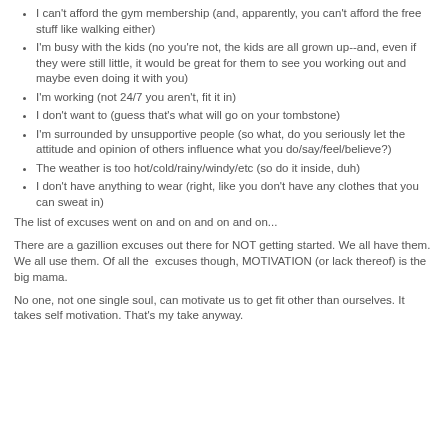I can't afford the gym membership (and, apparently, you can't afford the free stuff like walking either)
I'm busy with the kids (no you're not, the kids are all grown up--and, even if they were still little, it would be great for them to see you working out and maybe even doing it with you)
I'm working (not 24/7 you aren't, fit it in)
I don't want to (guess that's what will go on your tombstone)
I'm surrounded by unsupportive people (so what, do you seriously let the attitude and opinion of others influence what you do/say/feel/believe?)
The weather is too hot/cold/rainy/windy/etc (so do it inside, duh)
I don't have anything to wear (right, like you don't have any clothes that you can sweat in)
The list of excuses went on and on and on and on...
There are a gazillion excuses out there for NOT getting started. We all have them. We all use them. Of all the excuses though, MOTIVATION (or lack thereof) is the big mama.
No one, not one single soul, can motivate us to get fit other than ourselves. It takes self motivation. That's my take anyway.